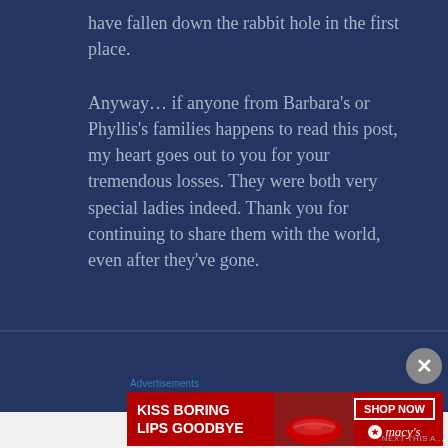have fallen down the rabbit hole in the first place.
Anyway… if anyone from Barbara's or Phyllis's families happens to read this post, my heart goes out to you for your tremendous losses. They were both very special ladies indeed. Thank you for continuing to share them with the world, even after they've gone.
[Figure (infographic): Advertisement banner: red background with text 'KISS BORING LIPS GOODBYE' on left, woman's face/lips in center, 'SHOP NOW' button and Macy's star logo on right]
Advertisements